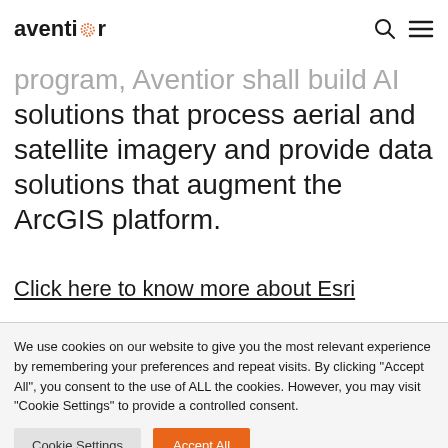aventior [logo with dotted globe]
program, Aventior shall build AI solutions that process aerial and satellite imagery and provide data solutions that augment the ArcGIS platform.
Click here to know more about Esri
We use cookies on our website to give you the most relevant experience by remembering your preferences and repeat visits. By clicking "Accept All", you consent to the use of ALL the cookies. However, you may visit "Cookie Settings" to provide a controlled consent.